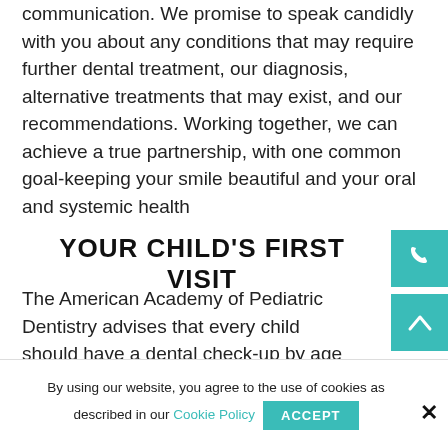communication. We promise to speak candidly with you about any conditions that may require further dental treatment, our diagnosis, alternative treatments that may exist, and our recommendations. Working together, we can achieve a true partnership, with one common goal-keeping your smile beautiful and your oral and systemic health
YOUR CHILD'S FIRST VISIT
The American Academy of Pediatric Dentistry advises that every child should have a dental check-up by age one. At this first visit, we are able to get a
By using our website, you agree to the use of cookies as described in our Cookie Policy
ACCEPT